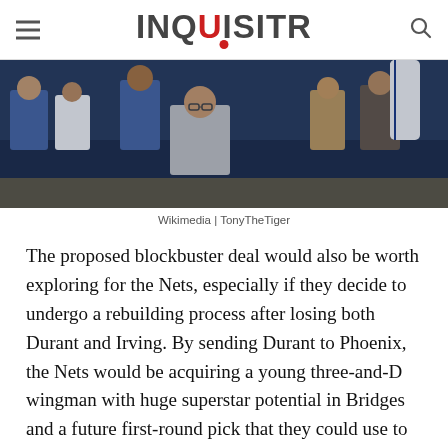INQUISITR
[Figure (photo): Basketball game photo showing players and fans in the stands, partially cropped at the top]
Wikimedia | TonyTheTiger
The proposed blockbuster deal would also be worth exploring for the Nets, especially if they decide to undergo a rebuilding process after losing both Durant and Irving. By sending Durant to Phoenix, the Nets would be acquiring a young three-and-D wingman with huge superstar potential in Bridges and a future first-round pick that they could use to add another talented prospect to their roster next year.